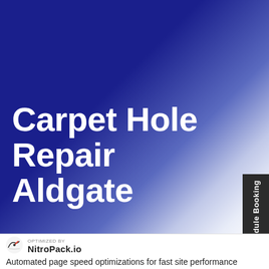Carpet Hole Repair Aldgate
Schedule Booking
[Figure (logo): NitroPack.io logo with speedometer icon, OPTIMIZED BY label above, NitroPack.io text]
Automated page speed optimizations for fast site performance